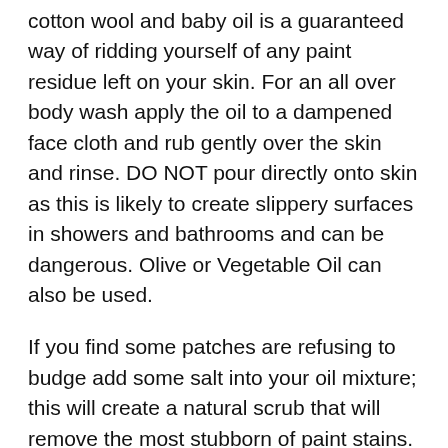cotton wool and baby oil is a guaranteed way of ridding yourself of any paint residue left on your skin. For an all over body wash apply the oil to a dampened face cloth and rub gently over the skin and rinse. DO NOT pour directly onto skin as this is likely to create slippery surfaces in showers and bathrooms and can be dangerous. Olive or Vegetable Oil can also be used.
If you find some patches are refusing to budge add some salt into your oil mixture; this will create a natural scrub that will remove the most stubborn of paint stains.
Mayonnaise!